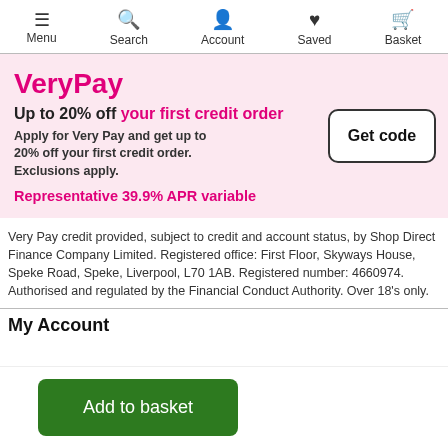Menu | Search | Account | Saved | Basket
VeryPay
Up to 20% off your first credit order
Apply for Very Pay and get up to 20% off your first credit order. Exclusions apply.
Representative 39.9% APR variable
[Figure (other): Get code button with rounded border]
Very Pay credit provided, subject to credit and account status, by Shop Direct Finance Company Limited. Registered office: First Floor, Skyways House, Speke Road, Speke, Liverpool, L70 1AB. Registered number: 4660974. Authorised and regulated by the Financial Conduct Authority. Over 18's only.
My Account
Add to basket